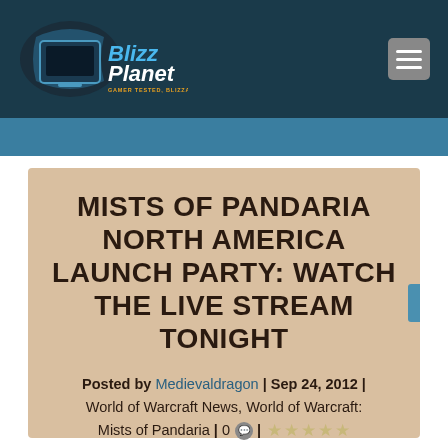BlizzPlanet — GAMER TESTED, BLIZZARD APPROVED
MISTS OF PANDARIA NORTH AMERICA LAUNCH PARTY: WATCH THE LIVE STREAM TONIGHT
Posted by Medievaldragon | Sep 24, 2012 | World of Warcraft News, World of Warcraft: Mists of Pandaria | 0 | ☆☆☆☆☆